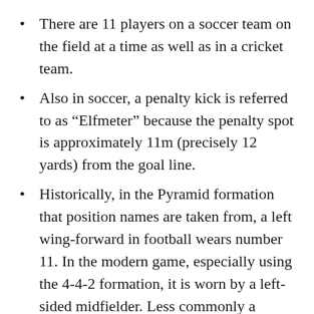There are 11 players on a soccer team on the field at a time as well as in a cricket team.
Also in soccer, a penalty kick is referred to as “Elfmeter” because the penalty spot is approximately 11m (precisely 12 yards) from the goal line.
Historically, in the Pyramid formation that position names are taken from, a left wing-forward in football wears number 11. In the modern game, especially using the 4-4-2 formation, it is worn by a left-sided midfielder. Less commonly a striker will wear the shirt.
There are 11 players in a field hockey team. The player wearing 11 will usually